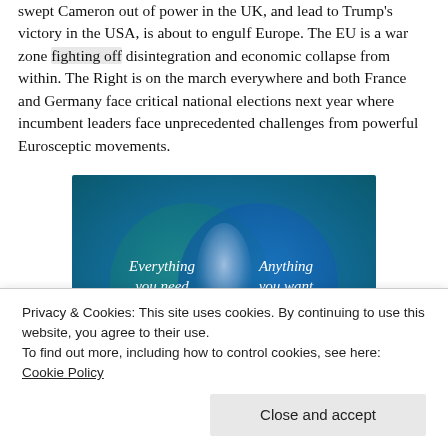swept Cameron out of power in the UK, and lead to Trump's victory in the USA, is about to engulf Europe. The EU is a war zone fighting off disintegration and economic collapse from within. The Right is on the march everywhere and both France and Germany face critical national elections next year where incumbent leaders face unprecedented challenges from powerful Eurosceptic movements.
[Figure (infographic): Venn diagram with two overlapping circles on a blue-teal gradient background. Left circle labeled 'Everything you need', right circle labeled 'Anything you want', with a glowing overlap region in the center.]
Privacy & Cookies: This site uses cookies. By continuing to use this website, you agree to their use.
To find out more, including how to control cookies, see here: Cookie Policy
Close and accept